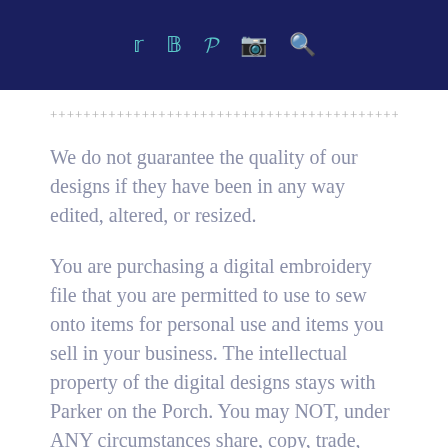Social media and search icons in header bar
++++++++++++++++++++++++++++++++++++++++++++++++++++++++
We do not guarantee the quality of our designs if they have been in any way edited, altered, or resized.
You are purchasing a digital embroidery file that you are permitted to use to sew onto items for personal use and items you sell in your business. The intellectual property of the digital designs stays with Parker on the Porch. You may NOT, under ANY circumstances share, copy, trade,